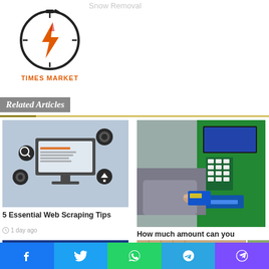Snow Removal
[Figure (logo): Times Market logo with lightning bolt in circular clock design and orange text TIMES MARKET]
Related Articles
[Figure (illustration): Web scraping concept illustration with computer monitor and settings icons on grey background]
5 Essential Web Scraping Tips
1 day ago
[Figure (photo): Person using credit card at ATM machine]
How much amount can you transfer from a credit card?
1 day ago
[Figure (infographic): Partial bottom left card image]
[Figure (photo): Partial bottom right card image of person in checked pattern]